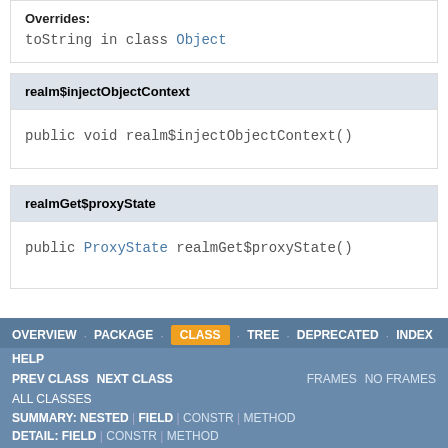Overrides: toString in class Object
realm$injectObjectContext
public void realm$injectObjectContext()
realmGet$proxyState
public ProxyState realmGet$proxyState()
OVERVIEW  PACKAGE  CLASS  TREE  DEPRECATED  INDEX  HELP  PREV CLASS  NEXT CLASS  FRAMES  NO FRAMES  ALL CLASSES  SUMMARY: NESTED | FIELD | CONSTR | METHOD  DETAIL: FIELD | CONSTR | METHOD